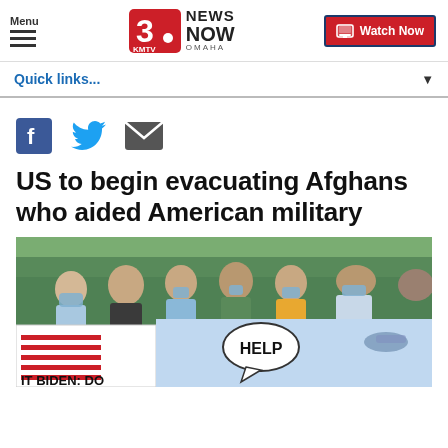Menu | 3 NEWS NOW KMTV OMAHA | Watch Now
Quick links...
[Figure (other): Social media share icons: Facebook, Twitter, Email]
US to begin evacuating Afghans who aided American military
[Figure (photo): Group of men wearing face masks holding protest banners including a US flag panel and a blue banner with HELP speech bubble and helicopter imagery; banner text reads IT BIDEN: DO]